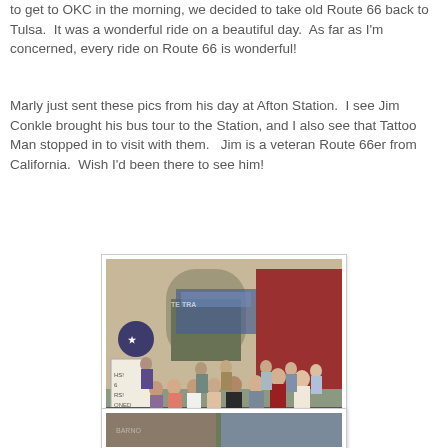to get to OKC in the morning, we decided to take old Route 66 back to Tulsa.  It was a wonderful ride on a beautiful day.  As far as I'm concerned, every ride on Route 66 is wonderful!
Marly just sent these pics from his day at Afton Station.  I see Jim Conkle brought his bus tour to the Station, and I also see that Tattoo Man stopped in to visit with them.   Jim is a veteran Route 66er from California.  Wish I'd been there to see him!
[Figure (photo): Group photo of approximately 20-25 people standing in front of Afton Station, a building with a white arched entrance. A bus is visible in the background. People are casually dressed, summer day. A sandwich board sign is visible on the left.]
[Figure (photo): Partial view of another photo at the bottom of the page, cropped.]